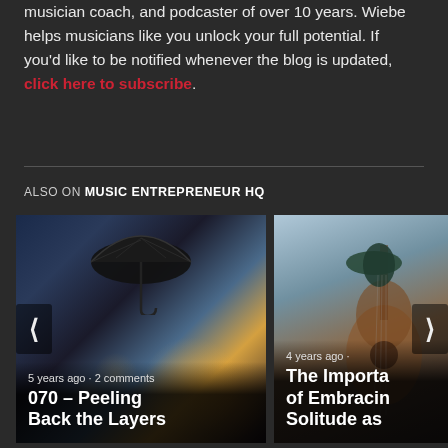musician coach, and podcaster of over 10 years. Wiebe helps musicians like you unlock your full potential. If you'd like to be notified whenever the blog is updated, click here to subscribe.
ALSO ON MUSIC ENTREPRENEUR HQ
[Figure (photo): First card: rainy night street scene with bokeh lights and umbrella silhouette. Caption: 5 years ago · 2 comments / 070 – Peeling Back the Layers]
[Figure (photo): Second card: person with hat holding acoustic guitar. Caption: 4 years ago · / The Importance of Embracing Solitude as...]